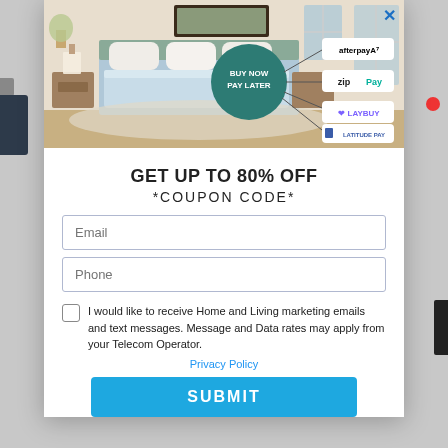[Figure (screenshot): Modal popup showing a bedroom photo with Buy Now Pay Later graphic and logos for Afterpay, zipPay, Laybuy, and Latitude Pay. An X close button is in the top right corner.]
GET UP TO 80% OFF
*COUPON CODE*
Email (input field)
Phone (input field)
I would like to receive Home and Living marketing emails and text messages. Message and Data rates may apply from your Telecom Operator.
Privacy Policy
SUBMIT